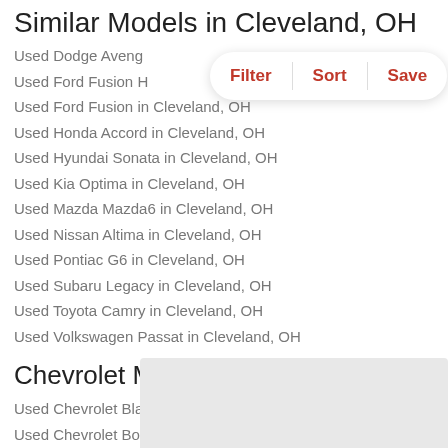Similar Models in Cleveland, OH
Used Dodge Aveng…
Used Ford Fusion H…
Used Ford Fusion in Cleveland, OH
Used Honda Accord in Cleveland, OH
Used Hyundai Sonata in Cleveland, OH
Used Kia Optima in Cleveland, OH
Used Mazda Mazda6 in Cleveland, OH
Used Nissan Altima in Cleveland, OH
Used Pontiac G6 in Cleveland, OH
Used Subaru Legacy in Cleveland, OH
Used Toyota Camry in Cleveland, OH
Used Volkswagen Passat in Cleveland, OH
Chevrolet Models in Ohio
Used Chevrolet Blazer in Cleveland, OH
Used Chevrolet Bolt EV in Cleveland, OH
Used Chevrolet Camaro in Cleveland, OH
Used Chevrolet Suburban in Cleveland, OH